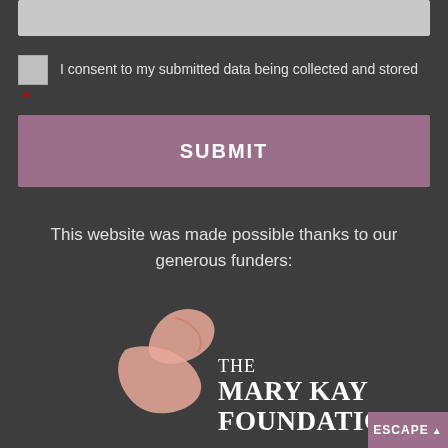[Figure (screenshot): Grey input text box at top of form]
I consent to my submitted data being collected and stored
*
SUBMIT
This website was made possible thanks to our generous funders:
[Figure (logo): The Mary Kay Foundation logo with stylized feather/swoosh icon and text 'THE MARY KAY FOUNDATION']
ESCAPE